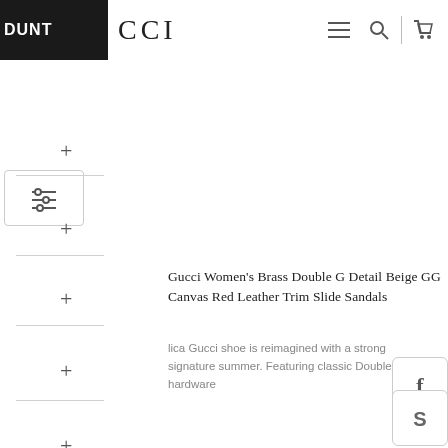DUNT | CCI
Gucci Women's Brass Double G Detail Beige GG Canvas Red Leather Trim Slide Sandals
This replica Gucci shoe is reimagined with a strong signature for summer. Featuring classic Double G hardware
[Figure (screenshot): Filter/sort icon button with horizontal slider lines]
[Figure (logo): Facebook social share button icon]
[Figure (logo): Skype social share button icon]